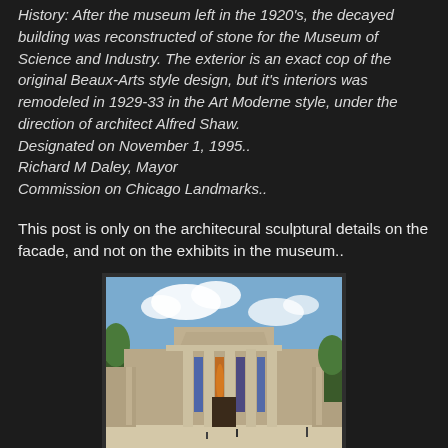History: After the museum left in the 1920's, the decayed building was reconstructed of stone for the Museum of Science and Industry. The exterior is an exact cop of the original Beaux-Arts style design, but it's interiors was remodeled in 1929-33 in the Art Moderne style, under the direction of architect Alfred Shaw. Designated on November 1, 1995.. Richard M Daley, Mayor Commission on Chicago Landmarks..
This post is only on the architecural sculptural details on the facade, and not on the exhibits in the museum..
[Figure (photo): Photograph of the Museum of Science and Industry in Chicago, showing its Beaux-Arts style facade with large columns, a pediment, and colorful exhibition banners between the columns.]